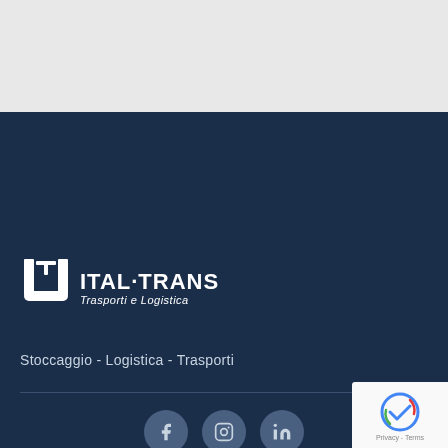[Figure (logo): Ital-Trans Trasporti e Logistica logo - white icon with U-shape and IT letters, company name in bold white, subtitle in italic white]
Stoccaggio - Logistica - Trasporti
[Figure (infographic): Three social media icons: Facebook (f), Instagram (camera), LinkedIn (in) — dark circular buttons on navy background]
© 2021 Ital-Trans con Talentheid. Tutti i diritti riservati. Priva... P.iva. IT01245150725